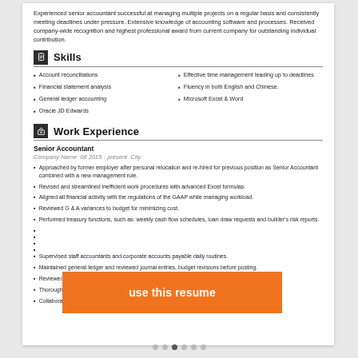Experienced senior accountant successful at managing multiple projects on a regular basis and consistently meeting deadlines under pressure. Extensive knowledge of accounting software and processes. Received company-wide recognition and highest professional award from current company for outstanding individual contribution.
Skills
Account reconciliations
Effective time management leading up to deadlines
Financial statement analysis
Fluency in both English and Chinese.
General ledger accounting
Microsoft Excel & Word
Oracle JD Edwards
Work Experience
Senior Accountant
Company Name  08 2015 - present  City
Approached by former employer after personal relocation and re-hired for previous position as Senior Accountant combined with a new management role.
Revised and streamlined inefficient work procedures with advanced Excel formulas.
Aligned all financial activity with the regulations of the GAAP while managing workload.
Reviewed G & A variances to budget for minimizing cost.
Performed treasury functions, such as: weekly cash flow schedules, loan draw requests and builder's risk reports.
Supervised staff accountants and corporate accounts payable daily routines.
Maintained general ledger and reviewed journal entries, budget revisions before posting.
Reviewed an...
Thoroughly p... any discrepancies.
Collaborated... nd audit processes.
[Figure (other): Orange banner overlay with text 'use this resume']